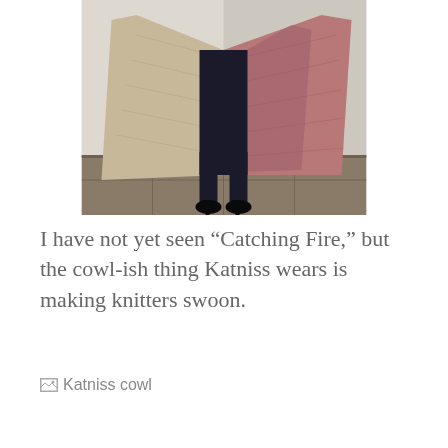[Figure (photo): Person wearing a large knitted cowl/wrap garment in beige and pink/mauve tones, standing on a tiled floor. The garment drapes loosely like a large shawl or cowl. Black jeans and black heeled shoes are visible below. Background is a light grey wall.]
I have not yet seen “Catching Fire,” but the cowl-ish thing Katniss wears is making knitters swoon.
[Figure (photo): Katniss cowl (broken/missing image placeholder with alt text 'Katniss cowl')]